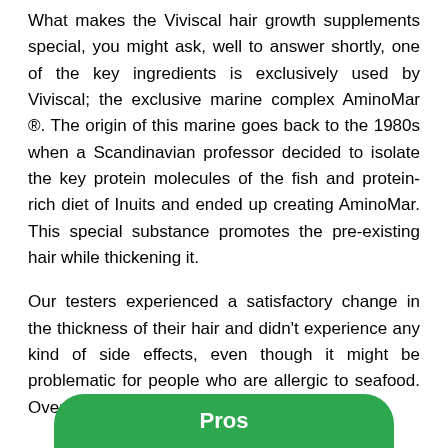What makes the Viviscal hair growth supplements special, you might ask, well to answer shortly, one of the key ingredients is exclusively used by Viviscal; the exclusive marine complex AminoMar ®. The origin of this marine goes back to the 1980s when a Scandinavian professor decided to isolate the key protein molecules of the fish and protein-rich diet of Inuits and ended up creating AminoMar. This special substance promotes the pre-existing hair while thickening it.

Our testers experienced a satisfactory change in the thickness of their hair and didn't experience any kind of side effects, even though it might be problematic for people who are allergic to seafood. Overall, our team really enjoyed this product.
Pros